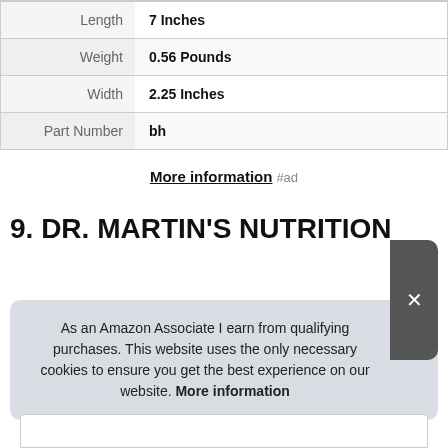| Attribute | Value |
| --- | --- |
| Length | 7 Inches |
| Weight | 0.56 Pounds |
| Width | 2.25 Inches |
| Part Number | bh |
More information #ad
9. DR. MARTIN'S NUTRITION
As an Amazon Associate I earn from qualifying purchases. This website uses the only necessary cookies to ensure you get the best experience on our website. More information